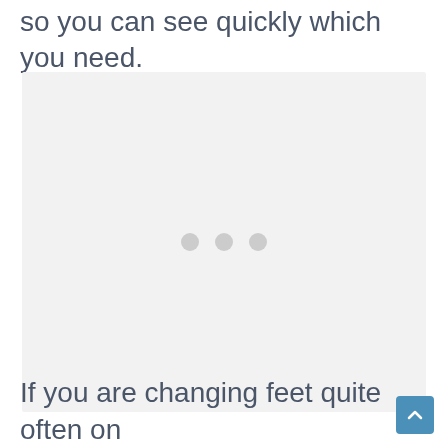so you can see quickly which you need.
[Figure (other): Loading placeholder with three grey dots on a light grey background]
If you are changing feet quite often on